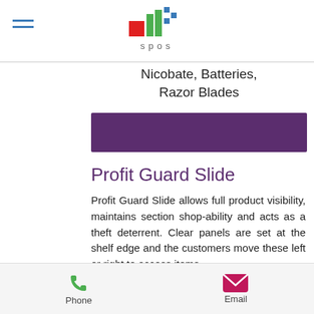spos
Nicobate, Batteries, Razor Blades
[Figure (other): Purple decorative banner strip]
Profit Guard Slide
Profit Guard Slide allows full product visibility, maintains section shopability and acts as a theft deterrent. Clear panels are set at the shelf edge and the customers move these left or right to access items.
There are two versions available:
An “Under Shelf” variety which is
Phone   Email